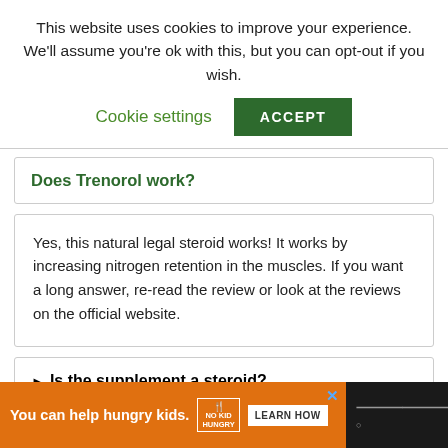This website uses cookies to improve your experience. We'll assume you're ok with this, but you can opt-out if you wish.
Cookie settings
ACCEPT
Does Trenorol work?
Yes, this natural legal steroid works! It works by increasing nitrogen retention in the muscles. If you want a long answer, re-read the review or look at the reviews on the official website.
Is the supplement a steroid?
You can help hungry kids. NO KID HUNGRY LEARN HOW